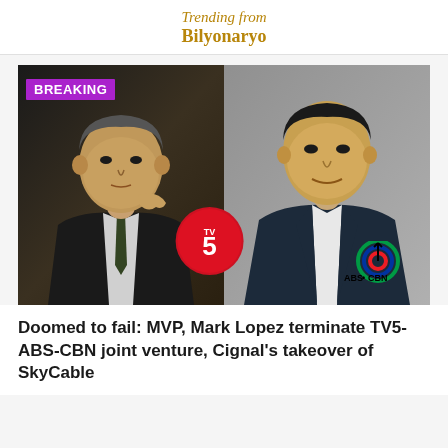Trending from
Bilyonaryo
[Figure (photo): News thumbnail showing two Filipino men side by side: an older man on the left with TV5 logo overlay and a BREAKING badge, and a younger man on the right with ABS-CBN logo overlay.]
Doomed to fail: MVP, Mark Lopez terminate TV5-ABS-CBN joint venture, Cignal's takeover of SkyCable